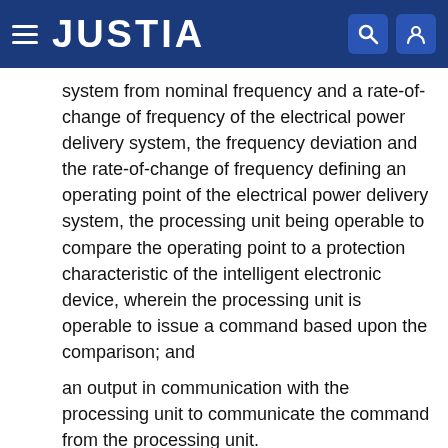JUSTIA
system from nominal frequency and a rate-of-change of frequency of the electrical power delivery system, the frequency deviation and the rate-of-change of frequency defining an operating point of the electrical power delivery system, the processing unit being operable to compare the operating point to a protection characteristic of the intelligent electronic device, wherein the processing unit is operable to issue a command based upon the comparison; and
an output in communication with the processing unit to communicate the command from the processing unit.
2. The intelligent electronic device of claim 1, wherein the protection characteristic is derived by settings representing selected frequency deviation and rate-of-